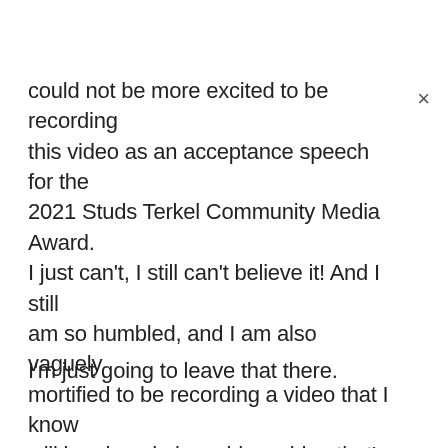could not be more excited to be recording this video as an acceptance speech for the 2021 Studs Terkel Community Media Award. I just can't, I still can't believe it! And I still am so humbled, and I am also vaguely mortified to be recording a video that I know will be played alongside a video that's been recorded by Brandis, like, oh my gosh. And I just want to put out there that some of us went into print for a reason.
I'm just going to leave that there.